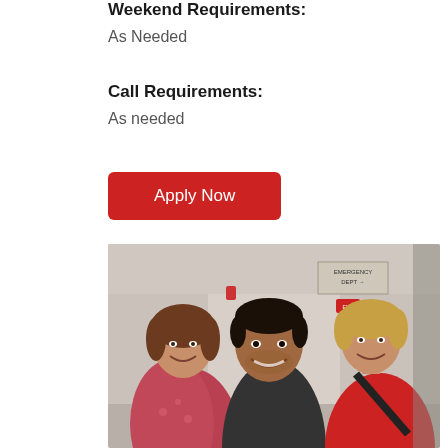Weekend Requirements:
As Needed
Call Requirements:
As needed
Apply Now
[Figure (photo): Three healthcare workers smiling in a hospital corridor. A man of mixed ethnicity in the center foreground, flanked by two women. The woman on the left has brown hair and is wearing a floral top, the woman on the right has short blonde hair and is wearing a red top. Hospital signage visible in background.]